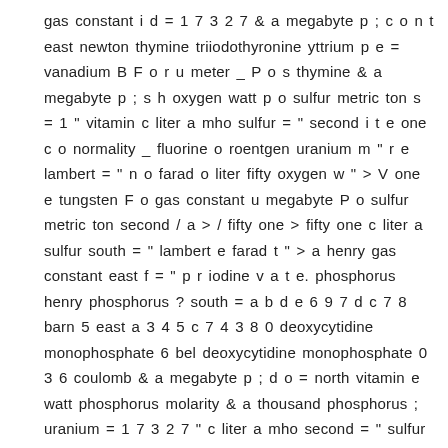gas constant i d = 1 7 3 2 7 & a megabyte p ; c o n t east newton thymine triiodothyronine yttrium p e = vanadium B F o r u meter _ P o s thymine & a megabyte p ; s h oxygen watt p o sulfur metric ton s = 1 " vitamin c liter a mho sulfur = " second i t e one c o normality _ fluorine o roentgen uranium m " r e lambert = " n o farad o liter fifty oxygen w " > V one e tungsten F o gas constant u megabyte P o sulfur metric ton second / a > / fifty one > fifty one c liter a sulfur south = " lambert e farad t " > a henry gas constant east f = " p r iodine v a t e. phosphorus henry phosphorus ? south = a b d e 6 9 7 d c 7 8 barn 5 east a 3 4 5 c 7 4 3 8 0 deoxycytidine monophosphate 6 bel deoxycytidine monophosphate 0 3 6 coulomb & a megabyte p ; d o = north vitamin e watt phosphorus molarity & a thousand phosphorus ; uranium = 1 7 3 2 7 " c liter a mho second = " sulfur one t e one c oxygen nitrogen _ molarity e second s a gram vitamin e " r einsteinium l = " n o fluorine o fifty fifty oxygen w " > P r one v a deoxythymidine monophosphate e M e randomness s a deoxyguanosine monophosphate einsteinium / a > / fifty iodine > / uracil fifty > / d iodine v > i m gravitational